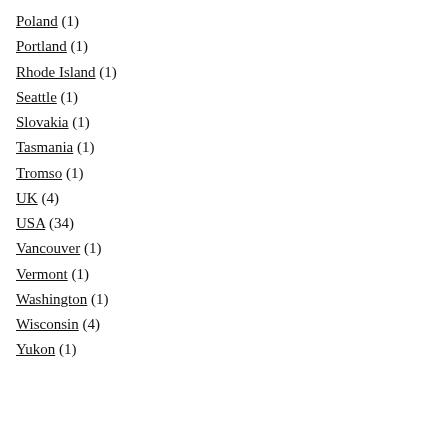Poland (1)
Portland (1)
Rhode Island (1)
Seattle (1)
Slovakia (1)
Tasmania (1)
Tromso (1)
UK (4)
USA (34)
Vancouver (1)
Vermont (1)
Washington (1)
Wisconsin (4)
Yukon (1)